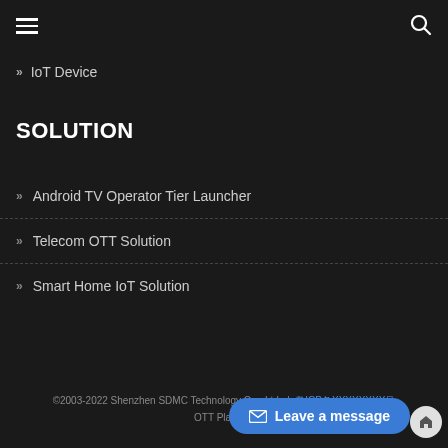Navigation header with hamburger menu and search icon
» IoT Device
SOLUTION
» Android TV Operator Tier Launcher
» Telecom OTT Solution
» Smart Home IoT Solution
©2003-2022 Shenzhen SDMC Technology Co., Ltd. | ICP 粤ICP备 OTT Platform
Leave a message